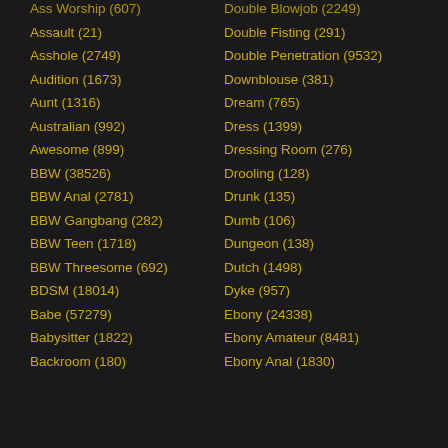Ass Worship (607)
Double Blowjob (2249)
Assault (21)
Double Fisting (291)
Asshole (2749)
Double Penetration (9532)
Audition (1673)
Downblouse (381)
Aunt (1316)
Dream (765)
Australian (992)
Dress (1399)
Awesome (899)
Dressing Room (276)
BBW (38526)
Drooling (128)
BBW Anal (2781)
Drunk (135)
BBW Gangbang (282)
Dumb (106)
BBW Teen (1718)
Dungeon (138)
BBW Threesome (692)
Dutch (1498)
BDSM (18014)
Dyke (957)
Babe (57279)
Ebony (24338)
Babysitter (1822)
Ebony Amateur (8481)
Backroom (180)
Ebony Anal (1830)